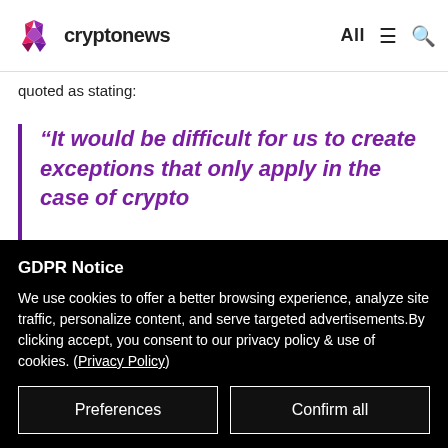cryptonews — All
quoted as stating:
“It would be difficult for us to create exceptions that only apply in the case of crypto
GDPR Notice
We use cookies to offer a better browsing experience, analyze site traffic, personalize content, and serve targeted advertisements.By clicking accept, you consent to our privacy policy & use of cookies. (Privacy Policy)
Preferences
Confirm all